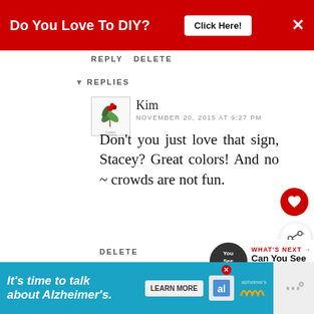[Figure (screenshot): Red advertisement banner: 'Do You Love To DIY?' with 'Click Here!' button and X close button]
REPLY DELETE
▾ REPLIES
[Figure (logo): Kim's avatar with flower/holly illustration and text]
Kim
NOVEMBER 20, 2015 AT 9:27 PM
Don't you just love that sign, Stacey? Great colors! And no ~ crowds are not fun.
DELETE
REPLY
[Figure (infographic): What's Next promo: dark circle with 'You See Grief' text, link 'Can You See Grief?']
[Figure (screenshot): Blue ad banner: "It's time to talk about Alzheimer's." with Learn More button and Alzheimer's Association logo]